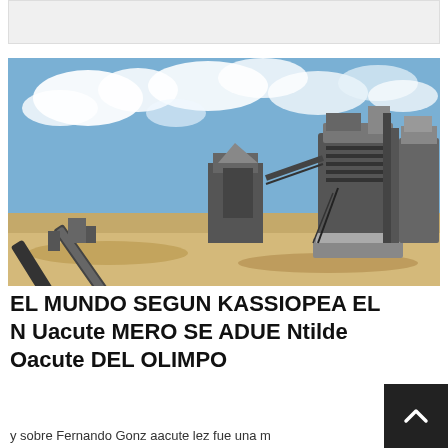[Figure (photo): Industrial mining or quarrying machinery with conveyors, crushers and processing equipment on a flat arid landscape under a partly cloudy blue sky.]
EL MUNDO SEGUN KASSIOPEA EL N Uacute MERO SE ADUE Ntilde Oacute DEL OLIMPO
y sobre Fernando Gonz aacute lez fue una m